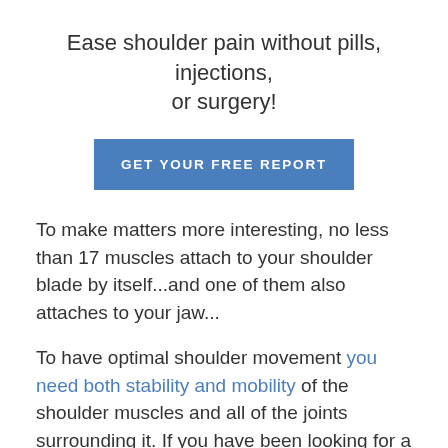Ease shoulder pain without pills, injections, or surgery!
[Figure (other): Blue call-to-action button labeled GET YOUR FREE REPORT]
To make matters more interesting, no less than 17 muscles attach to your shoulder blade by itself...and one of them also attaches to your jaw...
To have optimal shoulder movement you need both stability and mobility of the shoulder muscles and all of the joints surrounding it. If you have been looking for a solution to your shoulder pain for a while